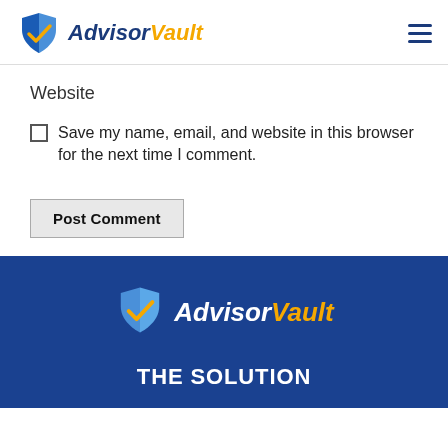[Figure (logo): AdvisorVault logo with shield icon, 'Advisor' in dark blue italic and 'Vault' in orange italic, hamburger menu icon top right]
Website
Save my name, email, and website in this browser for the next time I comment.
Post Comment
[Figure (logo): AdvisorVault logo in footer on dark blue background, 'Advisor' in white italic and 'Vault' in orange italic with shield icon]
THE SOLUTION